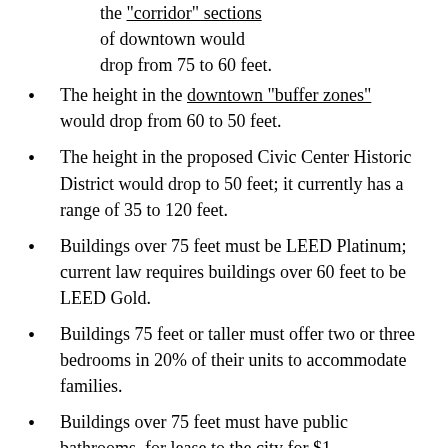the "corridor" sections of downtown would drop from 75 to 60 feet.
The height in the downtown "buffer zones" would drop from 60 to 50 feet.
The height in the proposed Civic Center Historic District would drop to 50 feet; it currently has a range of 35 to 120 feet.
Buildings over 75 feet must be LEED Platinum; current law requires buildings over 60 feet to be LEED Gold.
Buildings 75 feet or taller must offer two or three bedrooms in 20% of their units to accommodate families.
Buildings over 75 feet must have public bathrooms, for lease to the city for $1.
Changes to the approvals process